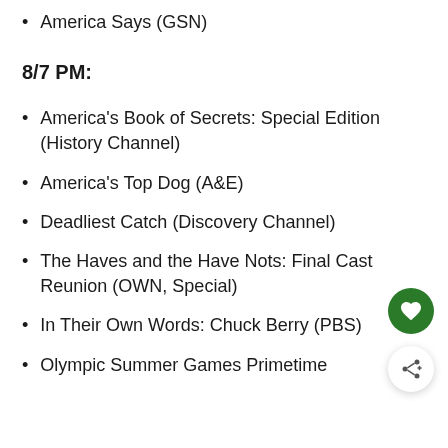America Says (GSN)
8/7 PM:
America's Book of Secrets: Special Edition (History Channel)
America's Top Dog (A&E)
Deadliest Catch (Discovery Channel)
The Haves and the Have Nots: Final Cast Reunion (OWN, Special)
In Their Own Words: Chuck Berry (PBS)
Olympic Summer Games Primetime